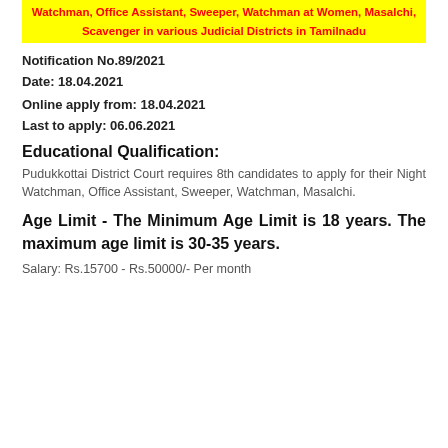Watchman, Office Assistant, Sweeper, Watchman at Women, Masalchi, Scavenger in various Judicial Districts in Tamilnadu
Notification No.89/2021
Date: 18.04.2021
Online apply from: 18.04.2021
Last to apply: 06.06.2021
Educational Qualification:
Pudukkottai District Court requires 8th candidates to apply for their Night Watchman, Office Assistant, Sweeper, Watchman, Masalchi.
Age Limit - The Minimum Age Limit is 18 years. The maximum age limit is 30-35 years.
Salary: Rs.15700 - Rs.50000/- Per month